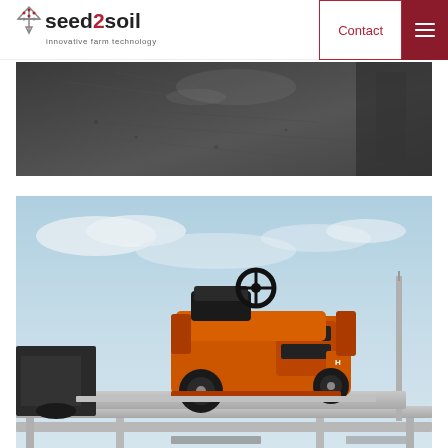seed2soil — innovative farm technology | Contact | Menu
[Figure (photo): Close-up photo of dark soil or asphalt-like ground surface with farm equipment visible at the right edge]
[Figure (photo): Orange Husqvarna ride-on lawn tractor mounted on a silver metal frame/lift platform of agricultural seeding equipment, photographed against a cloudy blue sky]